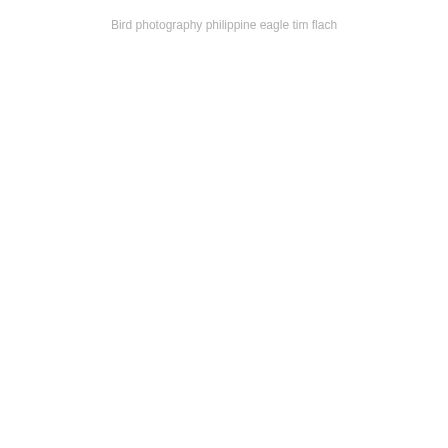Bird photography philippine eagle tim flach